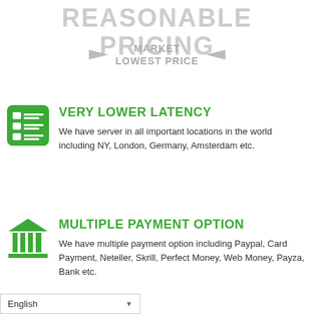REASONABLE PRICING
MARKET LOWEST PRICE
VERY LOWER LATENCY
We have server in all important locations in the world including NY, London, Germany, Amsterdam etc.
MULTIPLE PAYMENT OPTION
We have multiple payment option including Paypal, Card Payment, Neteller, Skrill, Perfect Money, Web Money, Payza, Bank etc.
English